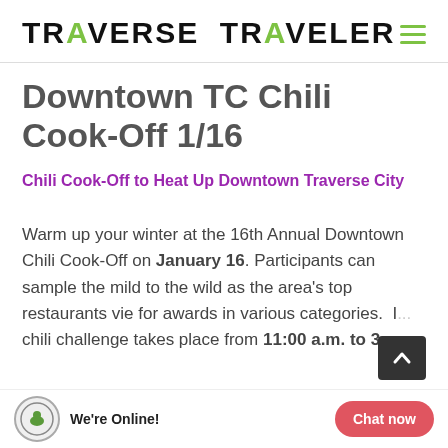TRAVERSE TRAVELER
Downtown TC Chili Cook-Off 1/16
Chili Cook-Off to Heat Up Downtown Traverse City
Warm up your winter at the 16th Annual Downtown Chili Cook-Off on January 16. Participants can sample the mild to the wild as the area's top restaurants vie for awards in various categories. I... chili challenge takes place from 11:00 a.m. to 3...